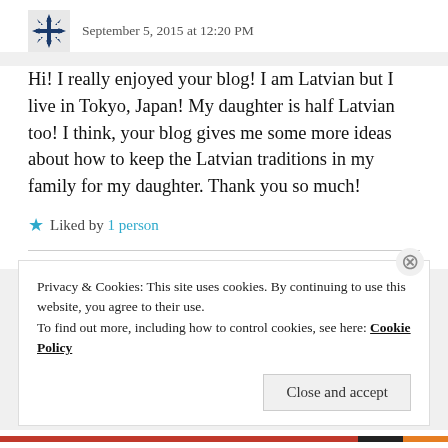September 5, 2015 at 12:20 PM
Hi! I really enjoyed your blog! I am Latvian but I live in Tokyo, Japan! My daughter is half Latvian too! I think, your blog gives me some more ideas about how to keep the Latvian traditions in my family for my daughter. Thank you so much!
Liked by 1 person
CHELIE2002
September 5, 2015 at 12:21 PM
Privacy & Cookies: This site uses cookies. By continuing to use this website, you agree to their use.
To find out more, including how to control cookies, see here: Cookie Policy
Close and accept